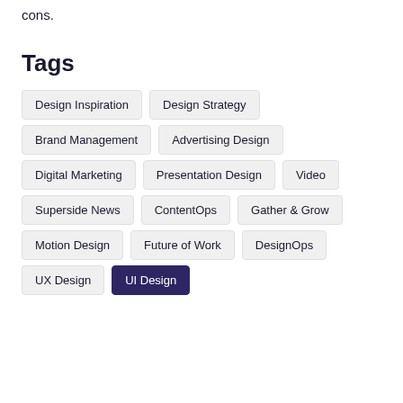cons.
Tags
Design Inspiration
Design Strategy
Brand Management
Advertising Design
Digital Marketing
Presentation Design
Video
Superside News
ContentOps
Gather & Grow
Motion Design
Future of Work
DesignOps
UX Design
UI Design